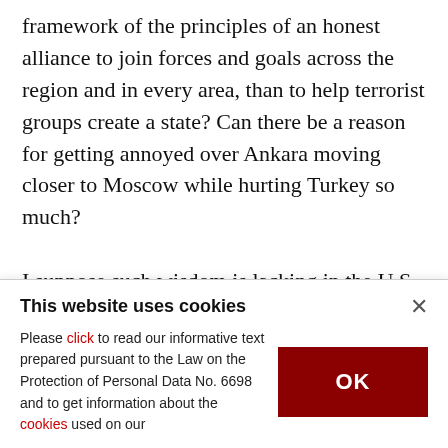framework of the principles of an honest alliance to join forces and goals across the region and in every area, than to help terrorist groups create a state? Can there be a reason for getting annoyed over Ankara moving closer to Moscow while hurting Turkey so much?

I suppose such wisdom is lacking in the U.S., or there are multiple Americas at war with each other. This kind of adventurous approach also suggests political weakness. Let's hope that this weakness...
This website uses cookies

Please click to read our informative text prepared pursuant to the Law on the Protection of Personal Data No. 6698 and to get information about the cookies used on our